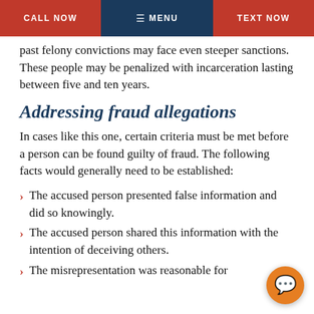CALL NOW  ≡ MENU  TEXT NOW
past felony convictions may face even steeper sanctions. These people may be penalized with incarceration lasting between five and ten years.
Addressing fraud allegations
In cases like this one, certain criteria must be met before a person can be found guilty of fraud. The following facts would generally need to be established:
The accused person presented false information and did so knowingly.
The accused person shared this information with the intention of deceiving others.
The misrepresentation was reasonable for